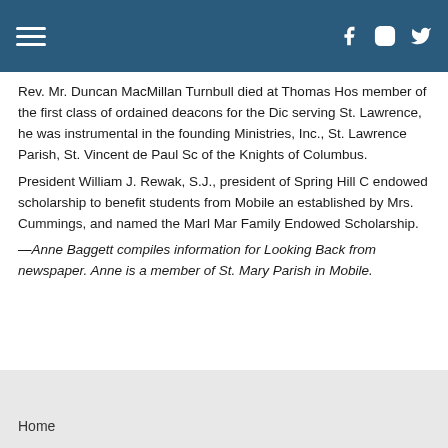Navigation header with hamburger menu and social icons (Facebook, Instagram, Twitter)
Rev. Mr. Duncan MacMillan Turnbull died at Thomas Hos member of the first class of ordained deacons for the Dio serving St. Lawrence, he was instrumental in the founding Ministries, Inc., St. Lawrence Parish, St. Vincent de Paul So of the Knights of Columbus.
President William J. Rewak, S.J., president of Spring Hill C endowed scholarship to benefit students from Mobile an established by Mrs. Cummings, and named the Marl Mar Family Endowed Scholarship.
—Anne Baggett compiles information for Looking Back from newspaper. Anne is a member of St. Mary Parish in Mobile.
Home